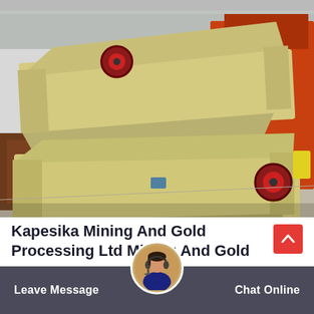[Figure (photo): Two large yellow/beige industrial vibrating screen machines stacked on a concrete floor in a factory yard, with orange structural steel components visible in the background.]
Kapesika Mining And Gold Processing Ltd Mining And Gold
Kapesika mining and gold processing ltd is an integrated gold mining and refining company
Leave Message   Chat Online